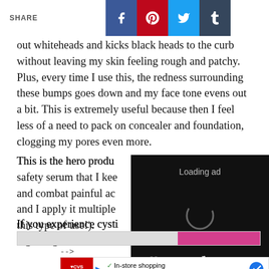SHARE
out whiteheads and kicks black heads to the curb without leaving my skin feeling rough and patchy. Plus, every time I use this, the redness surrounding these bumps goes down and my face tone evens out a bit. This is extremely useful because then I feel less of a need to pack on concealer and foundation, clogging my pores even more.
This is the hero product I can't do without. It's safety serum that I keep on hand to prevent and combat painful acne. It isn't limited to face and I apply it multiple times a day (it's safe for this type of use!).
If you experience cystic acne, give this a try. You won't regret it.
[Figure (screenshot): Video ad overlay showing 'Loading ad' text with a spinning loading indicator and playback controls (pause, expand, mute) on a black background]
[Figure (screenshot): Progress bar with gray and pink sections, arrow comment '-->', and CVS pharmacy advertisement showing in-store shopping and drive-through options]